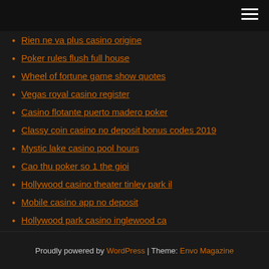Rien ne va plus casino origine
Poker rules flush full house
Wheel of fortune game show quotes
Vegas royal casino register
Casino flotante puerto madero poker
Classy coin casino no deposit bonus codes 2019
Mystic lake casino pool hours
Cao thu poker so 1 the gioi
Hollywood casino theater tinley park il
Mobile casino app no deposit
Hollywood park casino inglewood ca
Proudly powered by WordPress | Theme: Envo Magazine